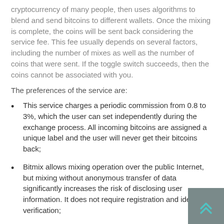The principle of operation is simple — the site accepts the cryptocurrency of many people, then uses algorithms to blend and send bitcoins to different wallets. Once the mixing is complete, the coins will be sent back considering the service fee. This fee usually depends on several factors, including the number of mixes as well as the number of coins that were sent. If the toggle switch succeeds, then the coins cannot be associated with you.
The preferences of the service are:
This service charges a periodic commission from 0.8 to 3%, which the user can set independently during the exchange process. All incoming bitcoins are assigned a unique label and the user will never get their bitcoins back;
Bitmix allows mixing operation over the public Internet, but mixing without anonymous transfer of data significantly increases the risk of disclosing user information. It does not require registration and identity verification;
The history of bitcoin transactions will be removed after two days. The randomization function makes it difficult to analyze the blockchain several times;
The user can select multiple addresses for the recipient of...